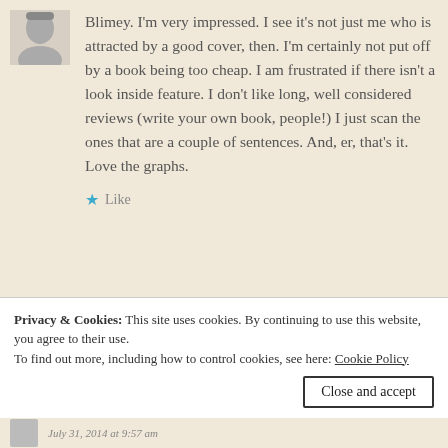[Figure (photo): Small avatar photo of a person in black and white, partially visible at top]
Blimey. I'm very impressed. I see it's not just me who is attracted by a good cover, then. I'm certainly not put off by a book being too cheap. I am frustrated if there isn't a look inside feature. I don't like long, well considered reviews (write your own book, people!) I just scan the ones that are a couple of sentences. And, er, that's it. Love the graphs.
★ Like
Privacy & Cookies: This site uses cookies. By continuing to use this website, you agree to their use.
To find out more, including how to control cookies, see here: Cookie Policy
Close and accept
July 31, 2014 at 9:57 am